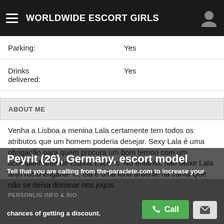WORLDWIDE ESCORT GIRLS
| Parking: | Yes |
| Drinks delivered: | Yes |
ABOUT ME
Venha a Lisboa a menina Lala certamente tem todos os atributos que um homem poderia desejar. Sexy Lala é uma obrigação para quem procura um bom tempo com um acompanhante de Lisboa Escorts. No entanto, não deixe Lala anjo rosto enganá- lo, ela é uma leoa ardente na cama Que não se deixa dominar nos jogos ... provavelmente vai querer esta viagem para durar para sempre e sempre.
Peyrit (26), Germany, escort model
Tell that you are calling from the-paraclete.com to increase your chances of getting a discount.
PERSONLIG INFO & BIO